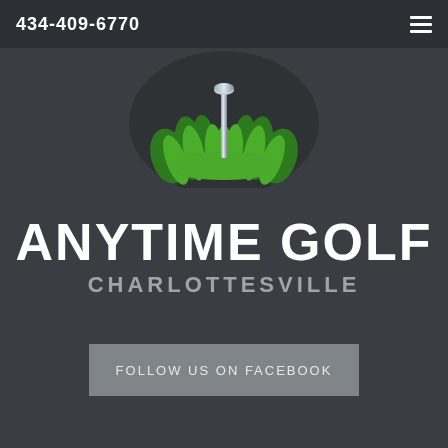434-409-6770
[Figure (illustration): Golf tee with a silver/metallic tee peg emerging from a mound of bright green grass, set against a dark circular background]
ANYTIME GOLF CHARLOTTESVILLE
FOLLOW US ON FACEBOOK